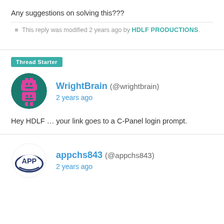Any suggestions on solving this???
This reply was modified 2 years ago by HDLF PRODUCTIONS.
Thread Starter
WrightBrain (@wrightbrain)
2 years ago
Hey HDLF … your link goes to a C-Panel login prompt.
appchs843 (@appchs843)
2 years ago